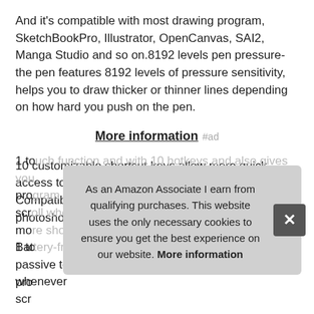And it's compatible with most drawing program, SketchBookPro, Illustrator, OpenCanvas, SAI2, Manga Studio and so on.8192 levels pen pressure-the pen features 8192 levels of pressure sensitivity, helps you to draw thicker or thinner lines depending on how hard you push on the pen.
More information #ad
10 customizable shortcut keys allow more quick access to most commonly used functions. Compatibility-windows 7/8/10, krita, such as: photoshop, firealpaca, mac 10.12 or later version.
1 to... prog... scro... mo... Batt... passive technology at present, so it's always ready whenever
As an Amazon Associate I earn from qualifying purchases. This website uses the only necessary cookies to ensure you get the best experience on our website. More information